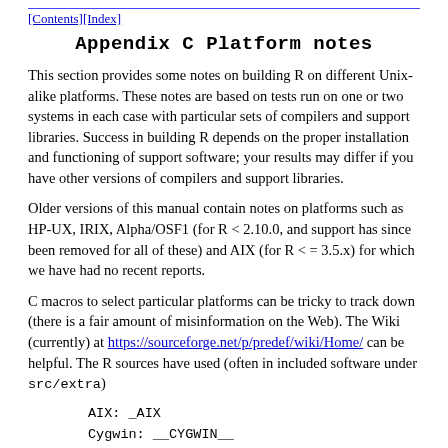[Contents][Index]
Appendix C Platform notes
This section provides some notes on building R on different Unix-alike platforms. These notes are based on tests run on one or two systems in each case with particular sets of compilers and support libraries. Success in building R depends on the proper installation and functioning of support software; your results may differ if you have other versions of compilers and support libraries.
Older versions of this manual contain notes on platforms such as HP-UX, IRIX, Alpha/OSF1 (for R < 2.10.0, and support has since been removed for all of these) and AIX (for R <= 3.5.x) for which we have had no recent reports.
C macros to select particular platforms can be tricky to track down (there is a fair amount of misinformation on the Web). The Wiki (currently) at https://sourceforge.net/p/predef/wiki/Home/ can be helpful. The R sources have used (often in included software under src/extra)
AIX:  _AIX
Cygwin:  __CYGWIN__